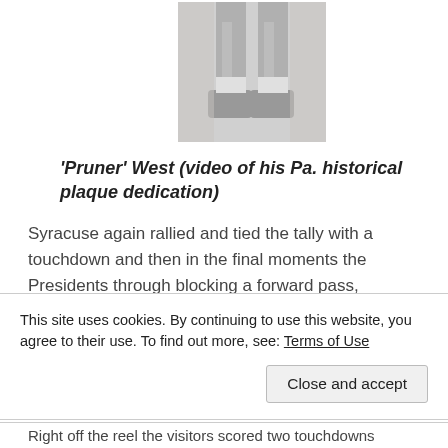[Figure (photo): Black and white photograph showing the lower body/legs of a person, cropped to show from approximately the waist down, wearing athletic clothing and shoes.]
'Pruner' West (video of his Pa. historical plaque dedication)
Syracuse again rallied and tied the tally with a touchdown and then in the final moments the Presidents through blocking a forward pass, registered another and winning touchdown.
This site uses cookies. By continuing to use this website, you agree to their use. To find out more, see: Terms of Use
Right off the reel the visitors scored two touchdowns